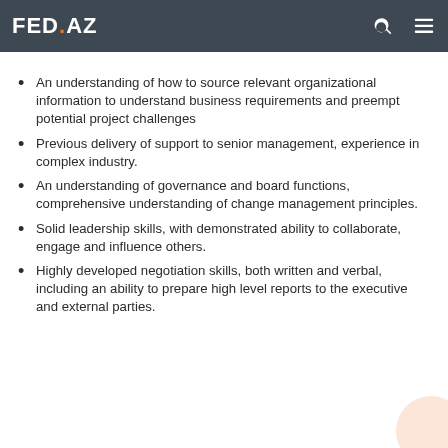FED.AZ
An understanding of how to source relevant organizational information to understand business requirements and preempt potential project challenges
Previous delivery of support to senior management, experience in complex industry.
An understanding of governance and board functions, comprehensive understanding of change management principles.
Solid leadership skills, with demonstrated ability to collaborate, engage and influence others.
Highly developed negotiation skills, both written and verbal, including an ability to prepare high level reports to the executive and external parties.